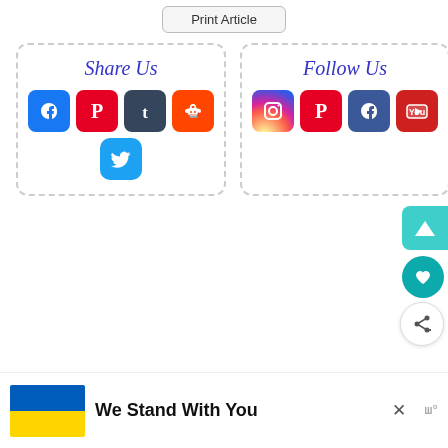[Figure (screenshot): Print Article button at top]
[Figure (infographic): Share Us box with Facebook, Pinterest, Tumblr, Reddit, Twitter social sharing icons]
[Figure (infographic): Follow Us box with Instagram, Pinterest, Facebook, YouTube social follow icons]
[Figure (infographic): Floating action buttons: teal triangle logo button, teal heart button, white share button]
[Figure (infographic): Ukraine support banner with blue/yellow flag, text 'We Stand With You', close X, and monospace logo]